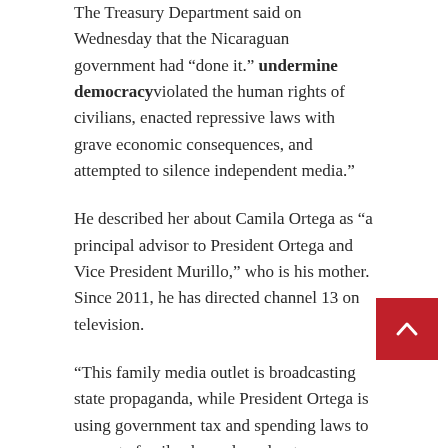The Treasury Department said on Wednesday that the Nicaraguan government had “done it.” undermine democracyviolated the human rights of civilians, enacted repressive laws with grave economic consequences, and attempted to silence independent media.”
He described her about Camila Ortega as “a principal advisor to President Ortega and Vice President Murillo,” who is his mother. Since 2011, he has directed channel 13 on television.
“This family media outlet is broadcasting state propaganda, while President Ortega is using government tax and spending laws to promote family channels and put pressure on independent and opposition media,” the Treasury said.
President Ortega, Vice President Murillo and their Rafael Antonio Ortega Murillo have already been sanctioned in the past by OFAC.